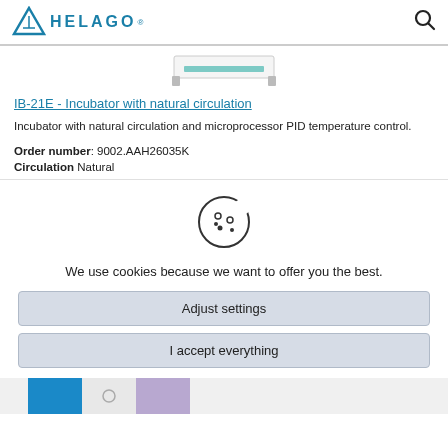HELAGO
[Figure (photo): Partial view of an incubator device (bottom portion visible)]
IB-21E - Incubator with natural circulation
Incubator with natural circulation and microprocessor PID temperature control.
Order number: 9002.AAH26035K
Circulation Natural
[Figure (illustration): Cookie icon - a cookie with bite marks and dots]
We use cookies because we want to offer you the best.
Adjust settings
I accept everything
[Figure (photo): Bottom strip showing partial product images with blue, white, and purple colored sections]